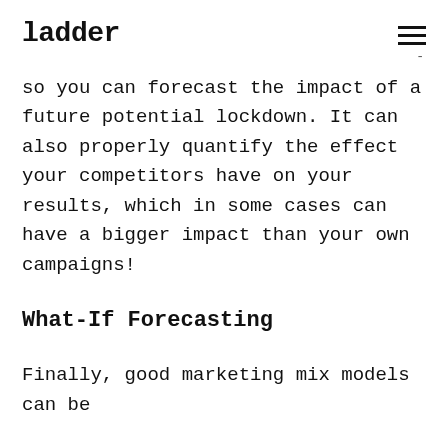ladder
so you can forecast the impact of a future potential lockdown. It can also properly quantify the effect your competitors have on your results, which in some cases can have a bigger impact than your own campaigns!
What-If Forecasting
Finally, good marketing mix models can be